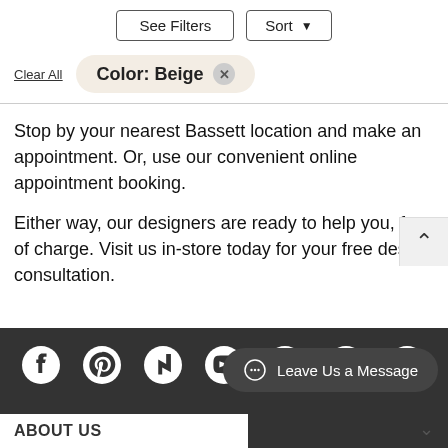[Figure (screenshot): UI filter/sort buttons: 'See Filters' and 'Sort' with dropdown arrow]
Clear All
Color: Beige ×
Stop by your nearest Bassett location and make an appointment. Or, use our convenient online appointment booking.
Either way, our designers are ready to help you, free of charge. Visit us in-store today for your free design consultation.
[Figure (infographic): Social media icons row: Facebook, Pinterest, Houzz, YouTube, Instagram, Twitter, LinkedIn — white icons on dark background]
Leave Us a Message
ABOUT US